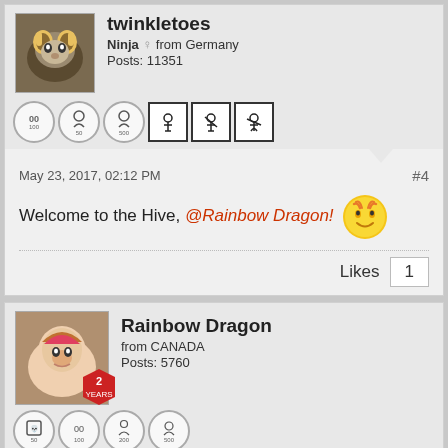twinkletoes
Ninja from Germany
Posts: 11351
[Figure (infographic): User badges/icons row for twinkletoes]
May 23, 2017, 02:12 PM
#4
Welcome to the Hive, @Rainbow Dragon! 🤗
Likes 1
Rainbow Dragon
from CANADA
Posts: 5760
[Figure (infographic): User badges/icons rows for Rainbow Dragon including red achievement icons]
May 23, 2017, 03:41 PM